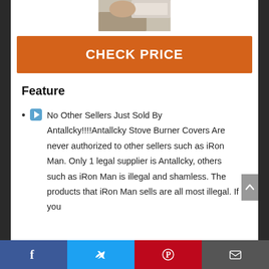[Figure (photo): Partial photo of a person's hand at top of page]
CHECK PRICE
Feature
▶No Other Sellers Just Sold By Antallcky!!!!Antallcky Stove Burner Covers Are never authorized to other sellers such as iRon Man. Only 1 legal supplier is Antallcky, others such as iRon Man is illegal and shamless. The products that iRon Man sells are all most illegal. If you
Facebook | Twitter | Pinterest | Email